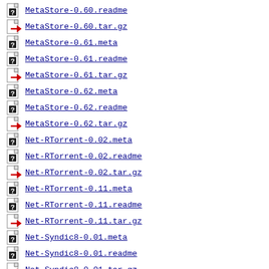MetaStore-0.60.readme
MetaStore-0.60.tar.gz
MetaStore-0.61.meta
MetaStore-0.61.readme
MetaStore-0.61.tar.gz
MetaStore-0.62.meta
MetaStore-0.62.readme
MetaStore-0.62.tar.gz
Net-RTorrent-0.02.meta
Net-RTorrent-0.02.readme
Net-RTorrent-0.02.tar.gz
Net-RTorrent-0.11.meta
Net-RTorrent-0.11.readme
Net-RTorrent-0.11.tar.gz
Net-Syndic8-0.01.meta
Net-Syndic8-0.01.readme
Net-Syndic8-0.01.tar.gz